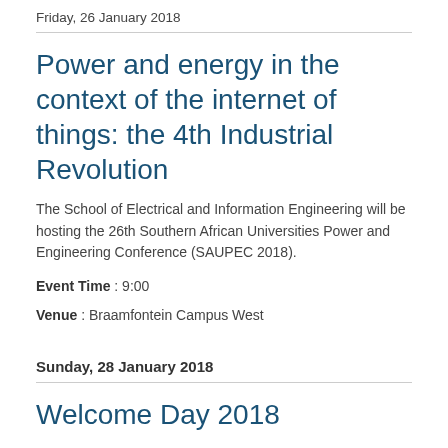Friday, 26 January 2018
Power and energy in the context of the internet of things: the 4th Industrial Revolution
The School of Electrical and Information Engineering will be hosting the 26th Southern African Universities Power and Engineering Conference (SAUPEC 2018).
Event Time : 9:00
Venue : Braamfontein Campus West
Sunday, 28 January 2018
Welcome Day 2018
Wits University will be welcoming first years as well as